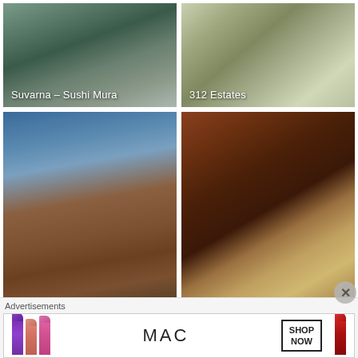[Figure (photo): Exterior photo of Suvarna - Sushi Mura, a glass office-style building with trees]
[Figure (photo): Exterior storefront photo of 312 Estates with flowers and signage]
[Figure (photo): Exterior photo of The Former Blue Bayou, a brick building photographed at angle against blue sky]
[Figure (photo): Interior photo of The Former Blue Bayou, showing dark wood bar and warm lighting]
Advertisements
[Figure (photo): MAC cosmetics advertisement banner showing lipsticks and SHOP NOW button]